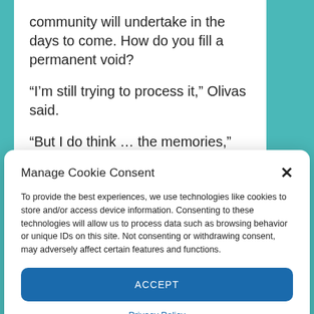community will undertake in the days to come. How do you fill a permanent void?
“I’m still trying to process it,” Olivas said.
“But I do think … the memories,” Nevarez said. “They keep us going.”
At 6 p.m., Lea County honored the victims of
Manage Cookie Consent
To provide the best experiences, we use technologies like cookies to store and/or access device information. Consenting to these technologies will allow us to process data such as browsing behavior or unique IDs on this site. Not consenting or withdrawing consent, may adversely affect certain features and functions.
ACCEPT
Privacy Policy